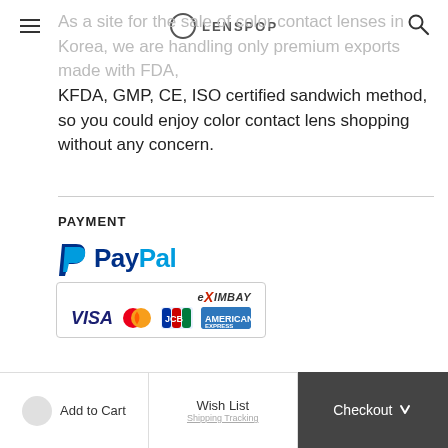LENSPOP
As a site for the sale of color contact lenses in Korea, we are handling only premium exports made with FDA, KFDA, GMP, CE, ISO certified sandwich method, so you could enjoy color contact lens shopping without any concern.
PAYMENT
[Figure (logo): PayPal logo and payment cards: VISA, Mastercard, JCB, American Express via eXimbay]
DELIVERY
RETURN & EXCHANGE
Add to Cart
Wish List
Checkout
Tracking